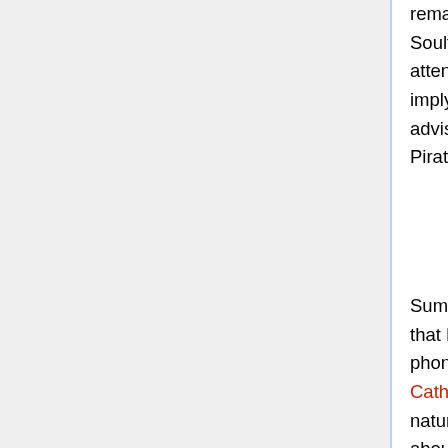remarks that it was an exciting event for him when he was a child. Now, El Soulfight has returned, but is using the Mr. Pirate identity to avoid the attention of the public, although Edo admits that this is an open secret, implying that it may not be such a big deal after all. Despite having advised him to look in El Crasher's room earlier, Edo reveals that Mr. Pirate is staying in Room 302.
Sumio heads down to Room 302, but finds the door locked. Suspecting that Mr. Pirate might be inside anyway, he decides to call him using the phone in El Crasher's neighboring room. He calls Mr. Pirate using Catherine (which he admits is unnecessary), and he picks up. Mr. Pirate, naturally speaking like a pirate, agrees to meet Sumio (who he's heard about) up on the roof. Up on the roof,